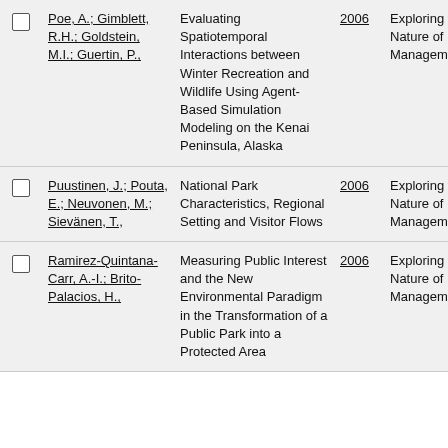|  | Authors | Title | Year | Source | Publication |
| --- | --- | --- | --- | --- | --- |
| ☐ | Poe, A.; Gimblett, R.H.; Goldstein, M.I.; Guertin, P., | Evaluating Spatiotemporal Interactions between Winter Recreation and Wildlife Using Agent-Based Simulation Modeling on the Kenai Peninsula, Alaska | 2006 | Exploring the Nature of Management | MMV 3 Procee |
| ☐ | Puustinen, J.; Pouta, E.; Neuvonen, M.; Sievänen, T., | National Park Characteristics, Regional Setting and Visitor Flows | 2006 | Exploring the Nature of Management | MMV 3 Procee |
| ☐ | Ramirez-Quintana-Carr, A.-I.; Brito-Palacios, H., | Measuring Public Interest and the New Environmental Paradigm in the Transformation of a Public Park into a Protected Area | 2006 | Exploring the Nature of Management | MMV 3 Procee |